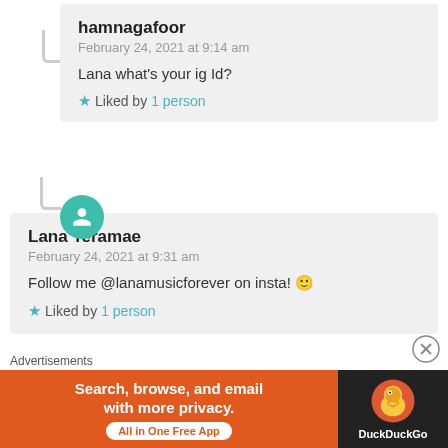hamnagafoor
February 24, 2021 at 9:14 am

Lana what’s your ig Id?

★ Liked by 1 person
Lana Teramae
February 24, 2021 at 9:31 am

Follow me @lanamusicforever on insta! 🙂

★ Liked by 1 person
Advertisements
[Figure (screenshot): DuckDuckGo advertisement banner: orange section with text 'Search, browse, and email with more privacy. All in One Free App' and dark section with DuckDuckGo duck logo and brand name.]